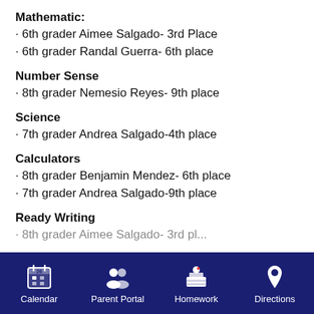Mathematic:
· 6th grader Aimee Salgado- 3rd Place
· 6th grader Randal Guerra- 6th place
Number Sense
· 8th grader Nemesio Reyes- 9th place
Science
· 7th grader Andrea Salgado-4th place
Calculators
· 8th grader Benjamin Mendez- 6th place
· 7th grader Andrea Salgado-9th place
Ready Writing
· 8th grader Aimee Salgado- 3rd place
Calendar  Parent Portal  Homework  Directions